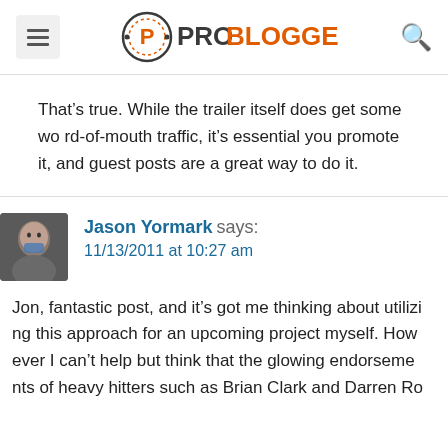ProBlogger
That’s true. While the trailer itself does get some word-of-mouth traffic, it’s essential you promote it, and guest posts are a great way to do it.
Jason Yormark says:
11/13/2011 at 10:27 am
Jon, fantastic post, and it’s got me thinking about utilizing this approach for an upcoming project myself. However I can’t help but think that the glowing endorsements of heavy hitters such as Brian Clark and Darren Ro...